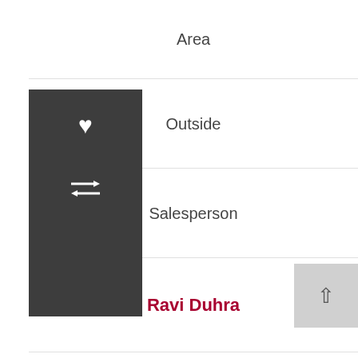Area
Outside
Salesperson
Ravi Duhra
Salesperson Phone
(855) 881-8680
Salesperson Email
[Figure (other): Envelope/email icon (black)]